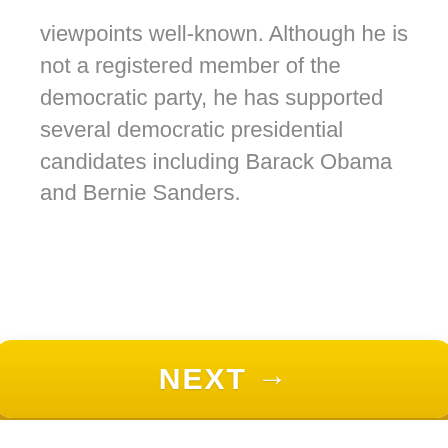viewpoints well-known. Although he is not a registered member of the democratic party, he has supported several democratic presidential candidates including Barack Obama and Bernie Sanders.
[Figure (other): Large yellow NEXT → button with rounded corners and drop shadow]
[Figure (other): Advertisement bar with close (x) button, 'Trending For You Today' label, a smaller yellow NEXT → button, a NextAd source label, and a blue Read button]